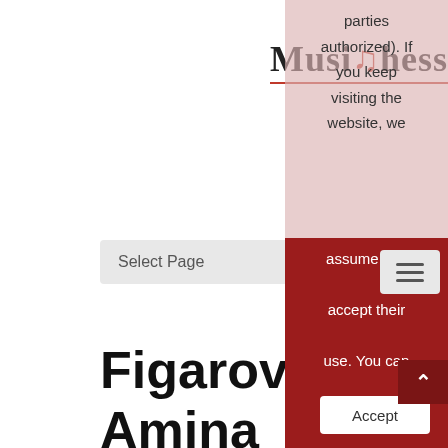[Figure (logo): MusiChess website logo with musical treble clef replacing the 'C', serif bold font, dark red underline]
Select Page
Figarova, Amina
[Figure (photo): Black and white portrait photograph of Amina Figarova, a woman with dark curly hair, looking at the camera]
parties authorized). If you keep visiting the website, we assume you accept their use. You can change the configure or obtain more information here
Accept